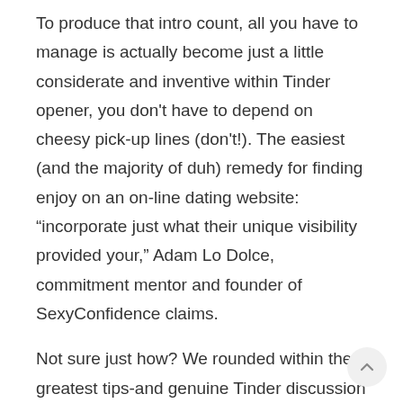To produce that intro count, all you have to manage is actually become just a little considerate and inventive within Tinder opener, you don't have to depend on cheesy pick-up lines (don't!). The easiest (and the majority of duh) remedy for finding enjoy on an on-line dating website: “incorporate just what their unique visibility provided your,” Adam Lo Dolce, commitment mentor and founder of SexyConfidence claims.
Not sure just how? We rounded within the greatest tips-and genuine Tinder discussion beginners (that